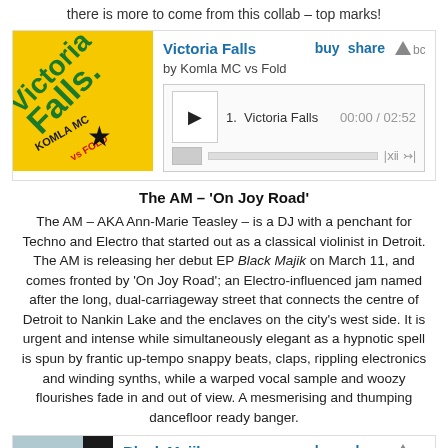there is more to come from this collab – top marks!
[Figure (other): Bandcamp embed widget for 'Victoria Falls' by Komla MC vs Fold, showing album art (yellow background with green text), track 1 Victoria Falls, play button, progress bar, time 00:00 / 02:52, buy and share links]
The AM – 'On Joy Road'
The AM – AKA Ann-Marie Teasley – is a DJ with a penchant for Techno and Electro that started out as a classical violinist in Detroit. The AM is releasing her debut EP Black Majik on March 11, and comes fronted by 'On Joy Road'; an Electro-influenced jam named after the long, dual-carriageway street that connects the centre of Detroit to Nankin Lake and the enclaves on the city's west side. It is urgent and intense while simultaneously elegant as a hypnotic spell is spun by frantic up-tempo snappy beats, claps, rippling electronics and winding synths, while a warped vocal sample and woozy flourishes fade in and out of view. A mesmerising and thumping dancefloor ready banger.
[Figure (other): Bandcamp embed widget for 'Black Majik' by The AM, showing album art (photo of building), buy and share links]